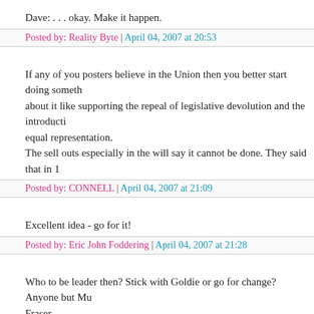Dave: . . . okay. Make it happen.
Posted by: Reality Byte | April 04, 2007 at 20:53
If any of you posters believe in the Union then you better start doing something about it like supporting the repeal of legislative devolution and the introduction of equal representation.
The sell outs especially in the will say it cannot be done. They said that in 1
Posted by: CONNELL | April 04, 2007 at 21:09
Excellent idea - go for it!
Posted by: Eric John Foddering | April 04, 2007 at 21:28
Who to be leader then? Stick with Goldie or go for change? Anyone but Murdo Fraser
Posted by: Toryboy | April 04, 2007 at 22:04
Thats right YAN I fear the name Scottish Unionist will have secterian conno...